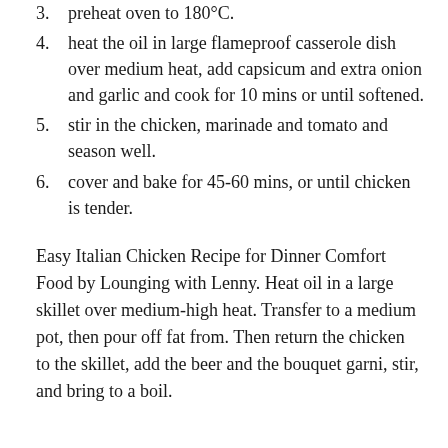3. preheat oven to 180°C.
4. heat the oil in large flameproof casserole dish over medium heat, add capsicum and extra onion and garlic and cook for 10 mins or until softened.
5. stir in the chicken, marinade and tomato and season well.
6. cover and bake for 45-60 mins, or until chicken is tender.
Easy Italian Chicken Recipe for Dinner Comfort Food by Lounging with Lenny. Heat oil in a large skillet over medium-high heat. Transfer to a medium pot, then pour off fat from. Then return the chicken to the skillet, add the beer and the bouquet garni, stir, and bring to a boil.